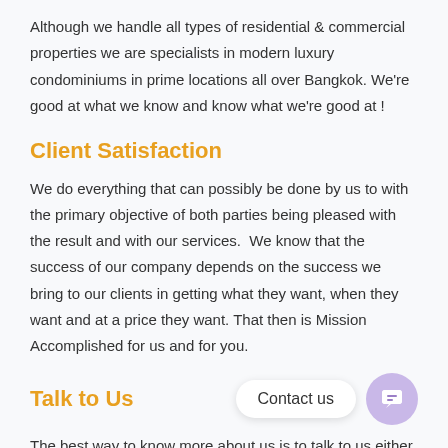Although we handle all types of residential & commercial properties we are specialists in modern luxury condominiums in prime locations all over Bangkok. We're good at what we know and know what we're good at !
Client Satisfaction
We do everything that can possibly be done by us to with the primary objective of both parties being pleased with the result and with our services.  We know that the success of our company depends on the success we bring to our clients in getting what they want, when they want and at a price they want. That then is Mission Accomplished for us and for you.
Talk to Us
The best way to know more about us is to talk to us either by